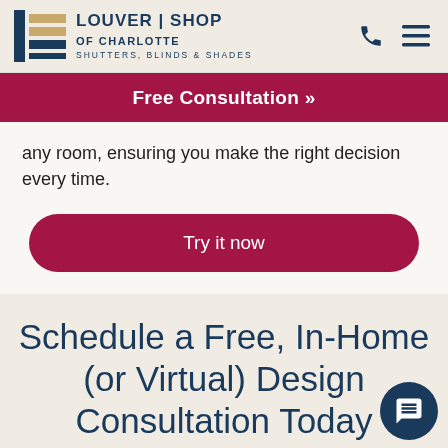[Figure (logo): Louver Shop of Charlotte logo with blue striped icon and text reading LOUVER SHOP OF CHARLOTTE SHUTTERS, BLINDS & SHADES]
[Figure (infographic): Red banner with text Free Consultation »]
any room, ensuring you make the right decision every time.
Try it now
Schedule a Free, In-Home (or Virtual) Design Consultation Today